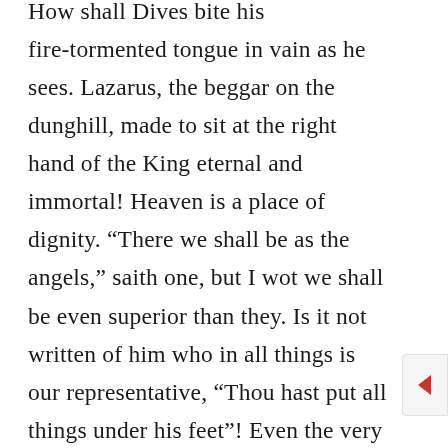How shall Dives bite his fire-tormented tongue in vain as he sees. Lazarus, the beggar on the dunghill, made to sit at the right hand of the King eternal and immortal! Heaven is a place of dignity. “There we shall be as the angels,” saith one, but I wot we shall be even superior than they. Is it not written of him who in all things is our representative, “Thou hast put all things under his feet”! Even the very seraphs themselves so richly blessed, what are they but “ministering spirits sent forth to minister to the heirs of salvation?”